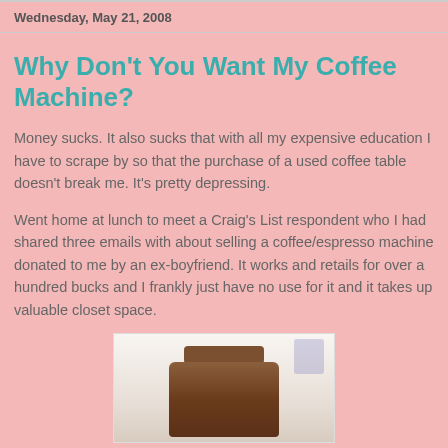Wednesday, May 21, 2008
Why Don't You Want My Coffee Machine?
Money sucks. It also sucks that with all my expensive education I have to scrape by so that the purchase of a used coffee table doesn't break me. It's pretty depressing.
Went home at lunch to meet a Craig's List respondent who I had shared three emails with about selling a coffee/espresso machine donated to me by an ex-boyfriend. It works and retails for over a hundred bucks and I frankly just have no use for it and it takes up valuable closet space.
[Figure (photo): Photo of a coffee/espresso machine, brown colored, sitting on a light background]